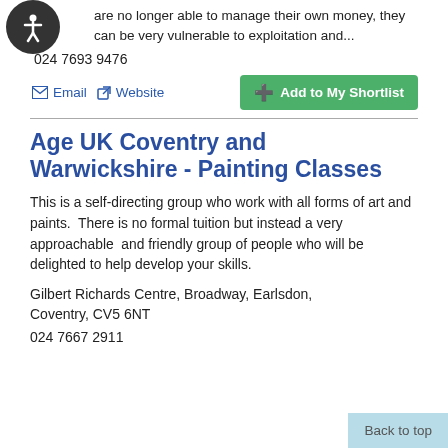are no longer able to manage their own money, they can be very vulnerable to exploitation and...
024 7693 9476
Email  Website  Add to My Shortlist
Age UK Coventry and Warwickshire - Painting Classes
This is a self-directing group who work with all forms of art and paints.  There is no formal tuition but instead a very approachable  and friendly group of people who will be delighted to help develop your skills.
Gilbert Richards Centre, Broadway, Earlsdon, Coventry, CV5 6NT
024 7667 2911
Back to top